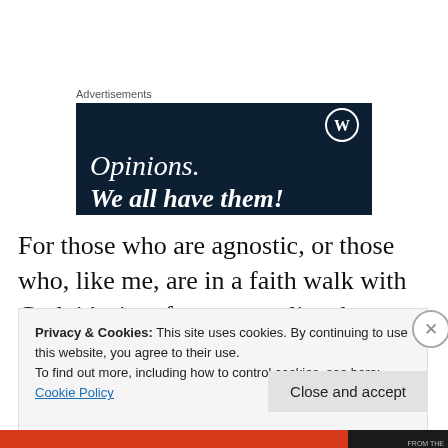Advertisements
[Figure (illustration): WordPress advertisement banner with dark navy background showing WordPress logo (circle with W) and text 'Opinions. We all have them!']
For those who are agnostic, or those who, like me, are in a faith walk with God, it's time for us to realize that we are put through a fire. We are meant to feel pain. It's terrible
Privacy & Cookies: This site uses cookies. By continuing to use this website, you agree to their use.
To find out more, including how to control cookies, see here: Cookie Policy
Close and accept